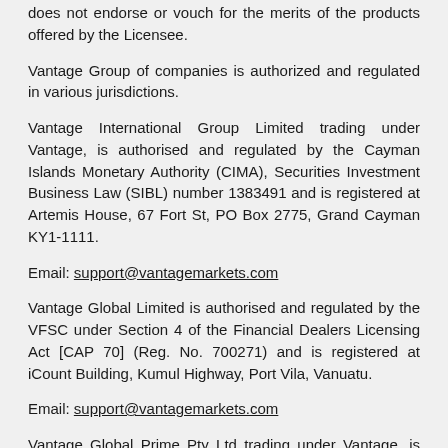does not endorse or vouch for the merits of the products offered by the Licensee.
Vantage Group of companies is authorized and regulated in various jurisdictions.
Vantage International Group Limited trading under Vantage, is authorised and regulated by the Cayman Islands Monetary Authority (CIMA), Securities Investment Business Law (SIBL) number 1383491 and is registered at Artemis House, 67 Fort St, PO Box 2775, Grand Cayman KY1-1111.
Email: support@vantagemarkets.com
Vantage Global Limited is authorised and regulated by the VFSC under Section 4 of the Financial Dealers Licensing Act [CAP 70] (Reg. No. 700271) and is registered at iCount Building, Kumul Highway, Port Vila, Vanuatu.
Email: support@vantagemarkets.com
Vantage Global Prime Pty Ltd trading under Vantage, is regulated by the Australian Securities and Investments Commission (ASIC), AFSL no. 428901 and is located at level 29, 31 Market St, Sydney, New South Wales, 2000, Australia. For clients who onboarded via www.vantagemarkets.com/en-au, Vantage Global Prime Pty